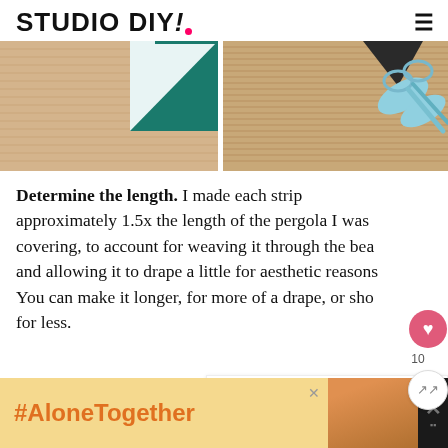STUDIO DIY!
[Figure (photo): Two side-by-side craft photos: left shows corrugated cardboard with a teal geometric paper template, right shows scissors and dark tape on a woven mat surface]
Determine the length. I made each strip approximately 1.5x the length of the pergola I was covering, to account for weaving it through the beams and allowing it to drape a little for aesthetic reasons. You can make it longer, for more of a drape, or shorter for less.
[Figure (screenshot): What's Next widget showing a thumbnail and 'How To Make An Easy...' text]
[Figure (infographic): Advertisement banner showing #AloneTogether hashtag in orange on yellow background, with a photo of a woman and a dark panel with X icon]